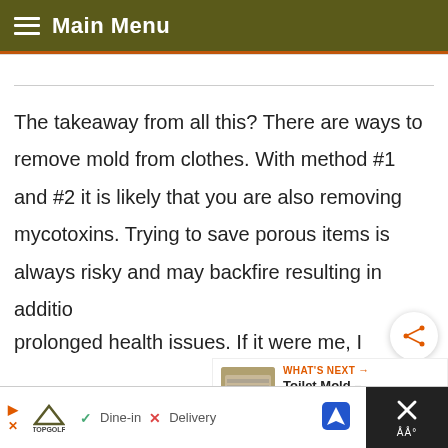Main Menu
The takeaway from all this? There are ways to remove mold from clothes. With method #1 and #2 it is likely that you are also removing mycotoxins. Trying to save porous items is always risky and may backfire resulting in additional prolonged health issues. If it were me, I
[Figure (screenshot): Share button (social share icon) floating on right side of page]
[Figure (screenshot): What's Next widget showing thumbnail and link to 'Toilet Mold – What It Is,...']
[Figure (screenshot): Advertisement bar at bottom showing TopGolf logo with Dine-in and Delivery options, navigation icon, and dark close button area]